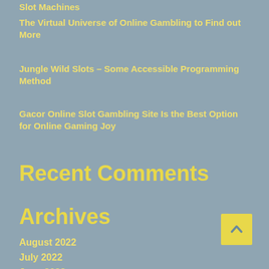Slot Machines
The Virtual Universe of Online Gambling to Find out More
Jungle Wild Slots – Some Accessible Programming Method
Gacor Online Slot Gambling Site Is the Best Option for Online Gaming Joy
Recent Comments
Archives
August 2022
July 2022
June 2022